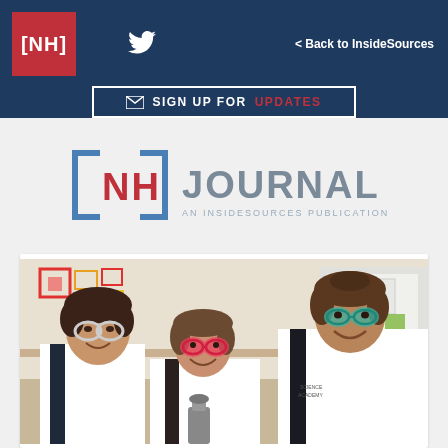[NH] | Twitter | < Back to InsideSources | SIGN UP FOR UPDATES
[Figure (logo): [NH] JOURNAL - AN INSIDESOURCES PUBLICATION logo]
[Figure (photo): Three students wearing lab coats and safety goggles smiling in a science laboratory]